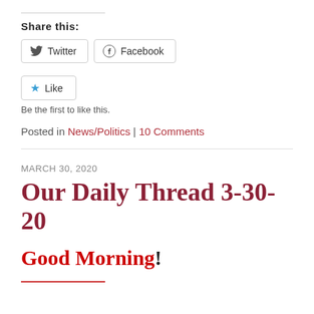Share this:
Twitter  Facebook
Like
Be the first to like this.
Posted in News/Politics | 10 Comments
MARCH 30, 2020
Our Daily Thread 3-30-20
Good Morning!